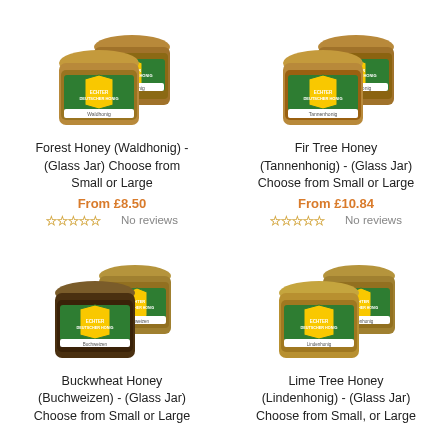[Figure (photo): Two glass jars of Forest Honey (Waldhonig) with green and yellow Echter Deutscher Honig labels]
Forest Honey (Waldhonig) - (Glass Jar) Choose from Small or Large
From £8.50
No reviews
[Figure (photo): Two glass jars of Fir Tree Honey (Tannenhonig) with green and yellow Echter Deutscher Honig labels]
Fir Tree Honey (Tannenhonig) - (Glass Jar) Choose from Small or Large
From £10.84
No reviews
[Figure (photo): Two dark glass jars of Buckwheat Honey (Buchweizen) with green and yellow Echter Deutscher Honig labels]
Buckwheat Honey (Buchweizen) - (Glass Jar) Choose from Small or Large
[Figure (photo): Two glass jars of Lime Tree Honey (Lindenhonig) with green and yellow Echter Deutscher Honig labels]
Lime Tree Honey (Lindenhonig) - (Glass Jar) Choose from Small, or Large